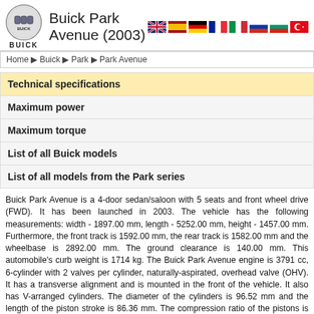Buick Park Avenue (2003)
Home ▶ Buick ▶ Park ▶ Park Avenue
Technical specifications
Maximum power
Maximum torque
List of all Buick models
List of all models from the Park series
Buick Park Avenue is a 4-door sedan/saloon with 5 seats and front wheel drive (FWD). It has been launched in 2003. The vehicle has the following measurements: width - 1897.00 mm, length - 5252.00 mm, height - 1457.00 mm. Furthermore, the front track is 1592.00 mm, the rear track is 1582.00 mm and the wheelbase is 2892.00 mm. The ground clearance is 140.00 mm. This automobile's curb weight is 1714 kg. The Buick Park Avenue engine is 3791 cc, 6-cylinder with 2 valves per cylinder, naturally-aspirated, overhead valve (OHV). It has a transverse alignment and is mounted in the front of the vehicle. It also has V-arranged cylinders. The diameter of the cylinders is 96.52 mm and the length of the piston stroke is 86.36 mm. The compression ratio of the pistons is 9.40:1. The maximum power and maximum torque of the engine are 153 kW / 209 ps at 5200 rpm and 311 Nm at 4000 rpm respectively. This model has a sequential port fuel injection (SPFI) fuel system. The oiling system of the engine is wet sump. The Buick Park Avenue has an automatic 4-speed transmission. The top gear ratio is